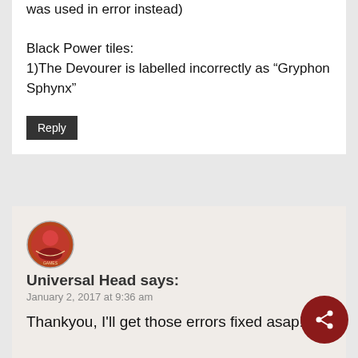was used in error instead)
Black Power tiles:
1)The Devourer is labelled incorrectly as “Gryphon Sphynx”
Reply
[Figure (logo): Round logo/avatar for Universal Head]
Universal Head says:
January 2, 2017 at 9:36 am
Thankyou, I’ll get those errors fixed asap!